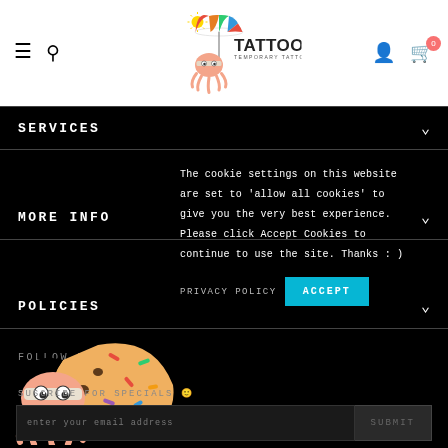[Figure (logo): Tattoonie Temporary Tattoos logo with cartoon octopus mascot wearing sunglasses and colorful umbrella]
SERVICES
MORE INFO
POLICIES
FOLLOW US
[Figure (illustration): Cartoon octopus mascot holding a bitten cookie with colorful sprinkles]
The cookie settings on this website are set to 'allow all cookies' to give you the very best experience. Please click Accept Cookies to continue to use the site. Thanks : )
SUSCRIBE FOR SPECIALS 😊
PRIVACY POLICY
ACCEPT
enter your email address
SUBMIT